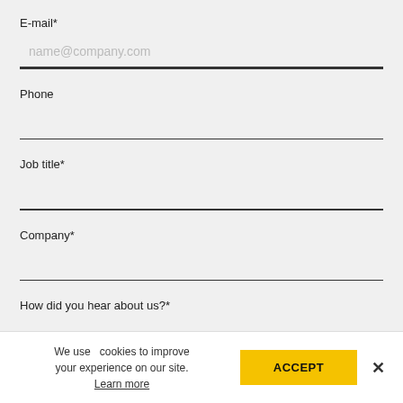E-mail*
name@company.com
Phone
Job title*
Company*
How did you hear about us?*
We use cookies to improve your experience on our site. Learn more
ACCEPT